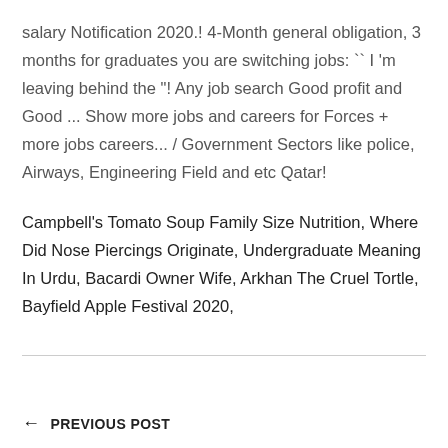salary Notification 2020.! 4-Month general obligation, 3 months for graduates you are switching jobs: `` I 'm leaving behind the "! Any job search Good profit and Good ... Show more jobs and careers for Forces + more jobs careers... / Government Sectors like police, Airways, Engineering Field and etc Qatar!
Campbell's Tomato Soup Family Size Nutrition, Where Did Nose Piercings Originate, Undergraduate Meaning In Urdu, Bacardi Owner Wife, Arkhan The Cruel Tortle, Bayfield Apple Festival 2020,
← PREVIOUS POST